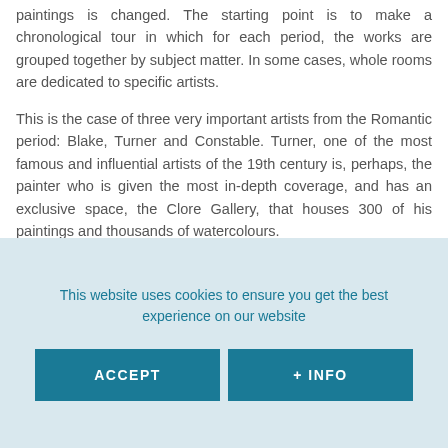paintings is changed. The starting point is to make a chronological tour in which for each period, the works are grouped together by subject matter. In some cases, whole rooms are dedicated to specific artists.
This is the case of three very important artists from the Romantic period: Blake, Turner and Constable. Turner, one of the most famous and influential artists of the 19th century is, perhaps, the painter who is given the most in-depth coverage, and has an exclusive space, the Clore Gallery, that houses 300 of his paintings and thousands of watercolours.
Among the artists that form part of the Tate Britain catalogue we could highlight, among others, Hogarth, Gainsborough, and
This website uses cookies to ensure you get the best experience on our website
ACCEPT
+ INFO